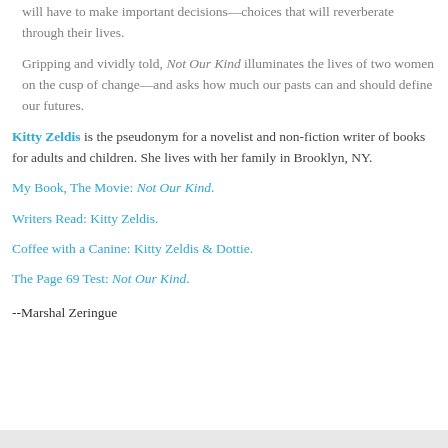will have to make important decisions—choices that will reverberate through their lives.
Gripping and vividly told, Not Our Kind illuminates the lives of two women on the cusp of change—and asks how much our pasts can and should define our futures.
Kitty Zeldis is the pseudonym for a novelist and non-fiction writer of books for adults and children. She lives with her family in Brooklyn, NY.
My Book, The Movie: Not Our Kind.
Writers Read: Kitty Zeldis.
Coffee with a Canine: Kitty Zeldis & Dottie.
The Page 69 Test: Not Our Kind.
--Marshal Zeringue